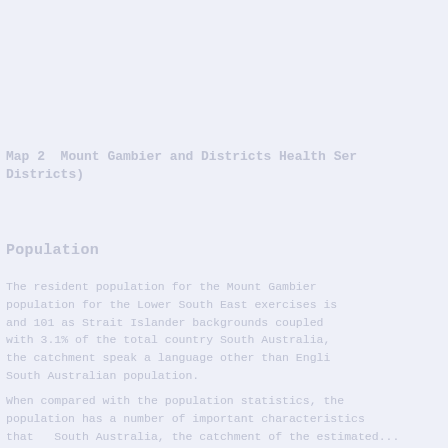Map 2  Mount Gambier and Districts Health Service Districts)
Population
The resident population for the Mount Gambier population for the Lower South East exercises is and 101 as Strait Islander backgrounds coupled with 3.1% of the total country South Australia, the catchment speak a language other than Engli South Australian population.
When compared with the population statistics, the population has a number of important characteristics that... South Australia, the catchment of the estimated...